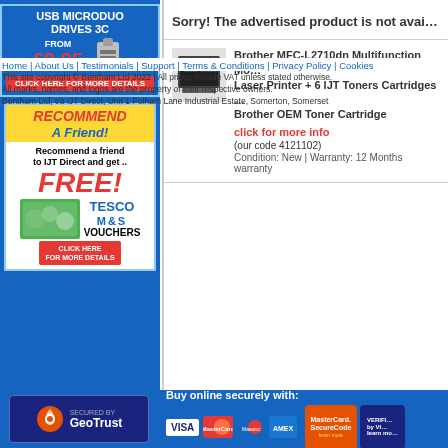[Figure (infographic): USB MicroDuo Drives 3C advertisement banner: from £9.95, Click Here for More Details]
[Figure (infographic): Recommend A Friend banner: Recommend a friend to IJT Direct and get FREE! Tesco M&S Vouchers, Click Here for More Details]
Sorry! The advertised product is not available
[Figure (photo): Brother MFC-L2710dn Multifunction Mono Laser Printer thumbnail image]
Brother MFC-L2710dn Multifunction Mono Laser Printer + 6 IJT Toners Cartridges + 1 Brother OEM Toner Cartridge
click for more info
(our code 4121102)
Condition: New | Warranty: 12 Months warranty
[Figure (logo): Secured by GeoTrust logo]
Buy online securely with:
[Figure (logo): Visa, MasterCard, Maestro, American Express card logos]
[Figure (logo): MasterCard SecureCode and Verified by Visa logos]
Home | About Us | Testimonials | Support | Terms & Conditions | Privacy Policy | Cookies
This site copyright © Bentham Ltd 2022 | All prices include VAT unless stated otherwise. All marks, names, and logos are the property of their respective owners.
Bentham Ltd, t/a IJT Direct, Unit 1 Polham Lane Industrial Estate, Somerton, Somerset